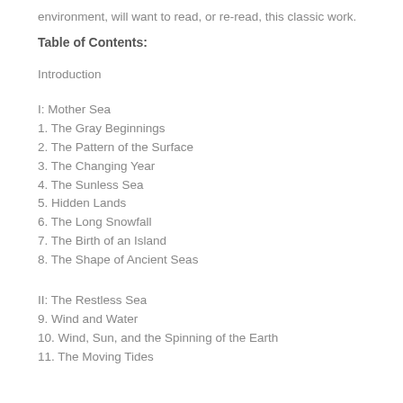environment, will want to read, or re-read, this classic work.
Table of Contents:
Introduction
I: Mother Sea
1. The Gray Beginnings
2. The Pattern of the Surface
3. The Changing Year
4. The Sunless Sea
5. Hidden Lands
6. The Long Snowfall
7. The Birth of an Island
8. The Shape of Ancient Seas
II: The Restless Sea
9. Wind and Water
10. Wind, Sun, and the Spinning of the Earth
11. The Moving Tides